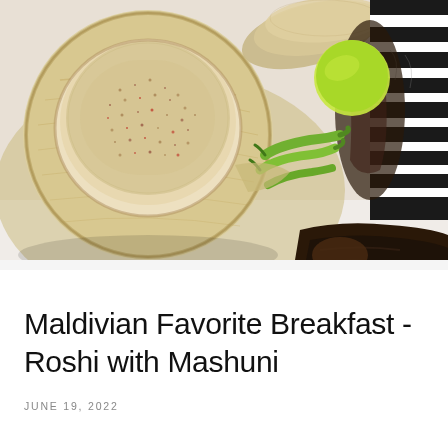[Figure (photo): Overhead food photo showing a wooden tray with a bowl of Mashuni (grated tuna coconut mixture with red pepper flakes), green chilies, a lime wedge, flatbreads (Roshi) in the background, a black and white striped fabric, and a dark dried fish ingredient in the foreground, arranged on a white surface.]
Maldivian Favorite Breakfast - Roshi with Mashuni
JUNE 19, 2022